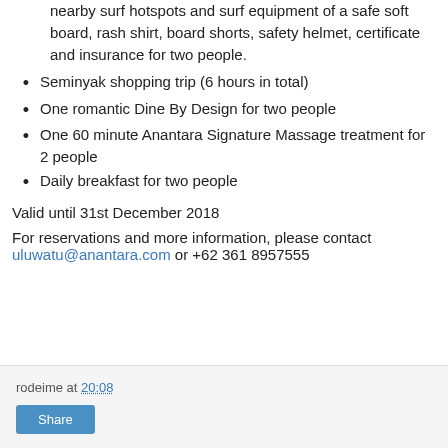nearby surf hotspots and surf equipment of a safe soft board, rash shirt, board shorts, safety helmet, certificate and insurance for two people.
Seminyak shopping trip (6 hours in total)
One romantic Dine By Design for two people
One 60 minute Anantara Signature Massage treatment for 2 people
Daily breakfast for two people
Valid until 31st December 2018
For reservations and more information, please contact uluwatu@anantara.com or +62 361 8957555
rodeime at 20:08  Share